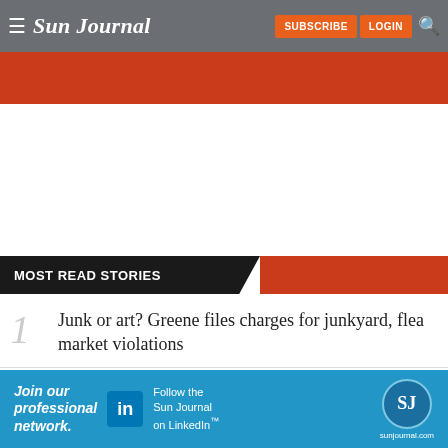Sun Journal
[Figure (other): Red decorative banner below header]
MOST READ STORIES
1. Junk or art? Greene files charges for junkyard, flea market violations
[Figure (other): LinkedIn advertisement banner: Join our professional network. Follow the Sun Journal on LinkedIn. sunjournal.com]